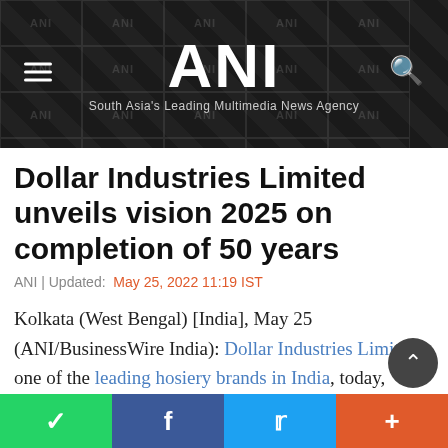ANI — South Asia's Leading Multimedia News Agency
Dollar Industries Limited unveils vision 2025 on completion of 50 years
ANI | Updated: May 25, 2022 11:19 IST
Kolkata (West Bengal) [India], May 25 (ANI/BusinessWire India): Dollar Industries Limited, one of the leading hosiery brands in India, today, shared their Vision 2025 and unveiled a Special Logo to mark their 50th Year. The Special Logo was unveiled by Din Da...